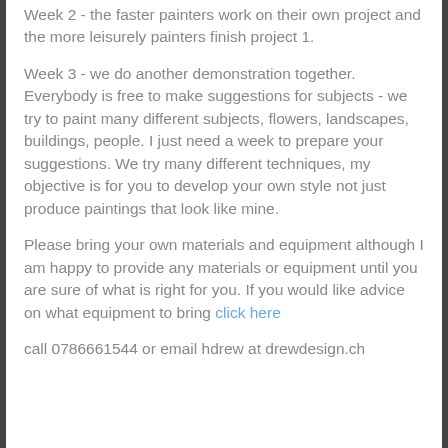Week 2 - the faster painters work on their own project and the more leisurely painters finish project 1.
Week 3 - we do another demonstration together. Everybody is free to make suggestions for subjects - we try to paint many different subjects, flowers, landscapes, buildings, people. I just need a week to prepare your suggestions. We try many different techniques, my objective is for you to develop your own style not just produce paintings that look like mine.
Please bring your own materials and equipment although I am happy to provide any materials or equipment until you are sure of what is right for you. If you would like advice on what equipment to bring click here
call 0786661544 or email hdrew at drewdesign.ch